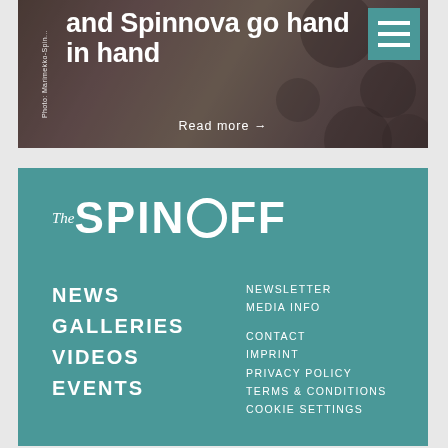[Figure (photo): Hero banner image showing Marimekko-Spinnova fabric/clothing with bold pattern, partially obscured by overlay. Hamburger menu icon in teal top right corner. Bold white headline text and 'Read more' link.]
and Spinnova go hand in hand
Read more →
[Figure (logo): The SPIN OFF logo in white on teal background — italic 'The' followed by bold 'SPIN OFF' with stylized O as circle]
NEWS
GALLERIES
VIDEOS
EVENTS
NEWSLETTER
MEDIA INFO
CONTACT
IMPRINT
PRIVACY POLICY
TERMS & CONDITIONS
COOKIE SETTINGS